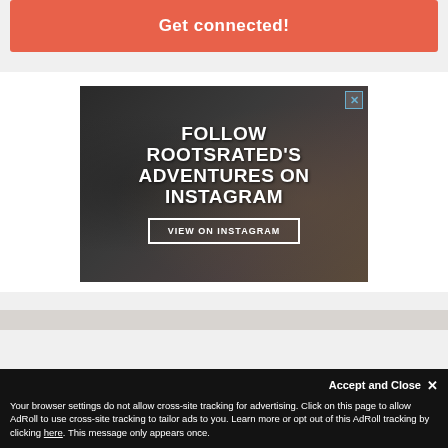Get connected!
[Figure (illustration): Advertisement banner for RootsRated Instagram. Dark background with climbing gear image. Text: FOLLOW ROOTSRATED'S ADVENTURES ON INSTAGRAM. Button: VIEW ON INSTAGRAM. Close X button in top right.]
Accept and Close ✕
Your browser settings do not allow cross-site tracking for advertising. Click on this page to allow AdRoll to use cross-site tracking to tailor ads to you. Learn more or opt out of this AdRoll tracking by clicking here. This message only appears once.